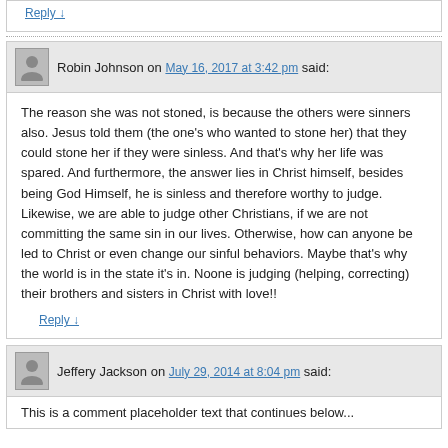Reply ↓
Robin Johnson on May 16, 2017 at 3:42 pm said:
The reason she was not stoned, is because the others were sinners also. Jesus told them (the one's who wanted to stone her) that they could stone her if they were sinless. And that's why her life was spared. And furthermore, the answer lies in Christ himself, besides being God Himself, he is sinless and therefore worthy to judge. Likewise, we are able to judge other Christians, if we are not committing the same sin in our lives. Otherwise, how can anyone be led to Christ or even change our sinful behaviors. Maybe that's why the world is in the state it's in. Noone is judging (helping, correcting) their brothers and sisters in Christ with love!!
Reply ↓
Jeffery Jackson on July 29, 2014 at 8:04 pm said: